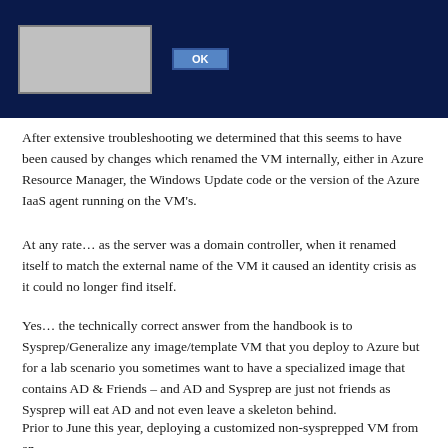[Figure (screenshot): Screenshot of a Windows dialog box with an OK button on a dark navy blue background]
After extensive troubleshooting we determined that this seems to have been caused by changes which renamed the VM internally, either in Azure Resource Manager, the Windows Update code or the version of the Azure IaaS agent running on the VM's.
At any rate… as the server was a domain controller, when it renamed itself to match the external name of the VM it caused an identity crisis as it could no longer find itself.
Yes… the technically correct answer from the handbook is to Sysprep/Generalize any image/template VM that you deploy to Azure but for a lab scenario you sometimes want to have a specialized image that contains AD & Friends – and AD and Sysprep are just not friends as Sysprep will eat AD and not even leave a skeleton behind.
Prior to June this year, deploying a customized non-sysprepped VM from an image with...